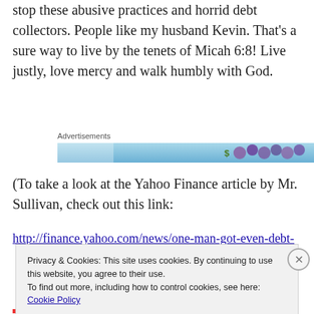stop these abusive practices and horrid debt collectors. People like my husband Kevin. That's a sure way to live by the tenets of Micah 6:8! Live justly, love mercy and walk humbly with God.
Advertisements
[Figure (other): Advertisement banner with blue background and colorful icons]
(To take a look at the Yahoo Finance article by Mr. Sullivan, check out this link:
http://finance.yahoo.com/news/one-man-got-even-debt-
Privacy & Cookies: This site uses cookies. By continuing to use this website, you agree to their use.
To find out more, including how to control cookies, see here: Cookie Policy
Close and accept